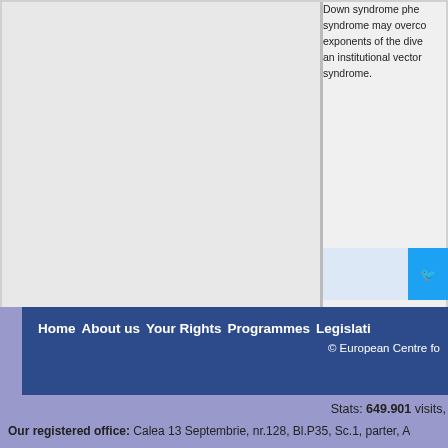Down syndrome phe... syndrome may overco... exponents of the dive... an institutional vector ... syndrome.
Home   About us   Your Rights   Programmes   Legislati...
© European Centre fo...
Stats: 649.901 visits,
Our registered office: Calea 13 Septembrie, nr.128, Bl.P35, Sc.1, parter, A...